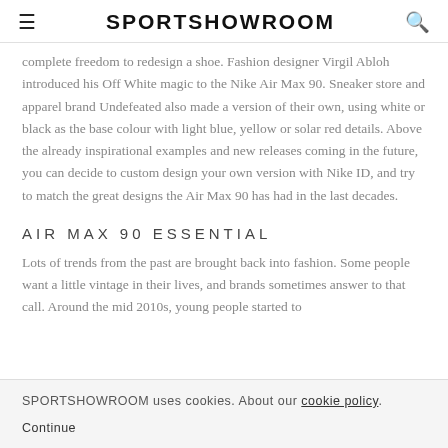SPORTSHOWROOM
complete freedom to redesign a shoe. Fashion designer Virgil Abloh introduced his Off White magic to the Nike Air Max 90. Sneaker store and apparel brand Undefeated also made a version of their own, using white or black as the base colour with light blue, yellow or solar red details. Above the already inspirational examples and new releases coming in the future, you can decide to custom design your own version with Nike ID, and try to match the great designs the Air Max 90 has had in the last decades.
AIR MAX 90 ESSENTIAL
Lots of trends from the past are brought back into fashion. Some people want a little vintage in their lives, and brands sometimes answer to that call. Around the mid 2010s, young people started to
SPORTSHOWROOM uses cookies. About our cookie policy.
Continue